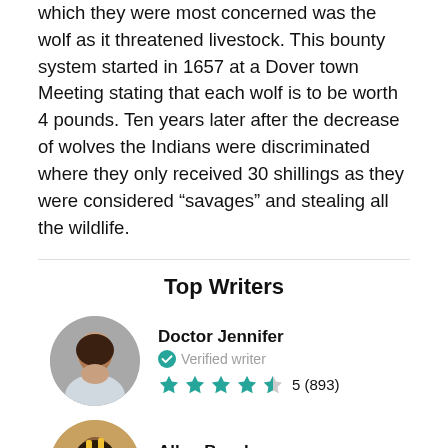which they were most concerned was the wolf as it threatened livestock. This bounty system started in 1657 at a Dover town Meeting stating that each wolf is to be worth 4 pounds. Ten years later after the decrease of wolves the Indians were discriminated where they only received 30 shillings as they were considered “savages” and stealing all the wildlife.
Top Writers
Doctor Jennifer
Verified writer
5 (893)
Allan Brooks
Verified writer